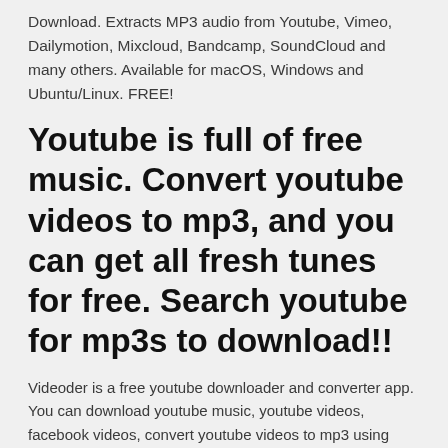Download. Extracts MP3 audio from Youtube, Vimeo, Dailymotion, Mixcloud, Bandcamp, SoundCloud and many others. Available for macOS, Windows and Ubuntu/Linux. FREE!
Youtube is full of free music. Convert youtube videos to mp3, and you can get all fresh tunes for free. Search youtube for mp3s to download!!
Videoder is a free youtube downloader and converter app. You can download youtube music, youtube videos, facebook videos, convert youtube videos to mp3 using Videoder. MP3 download by free online mp3 downloader & music downloader; Download mp3 songs & download music free. [Safe, No virus, No plugins] Get free music download now! Stáhněte si tuto aplikaci z